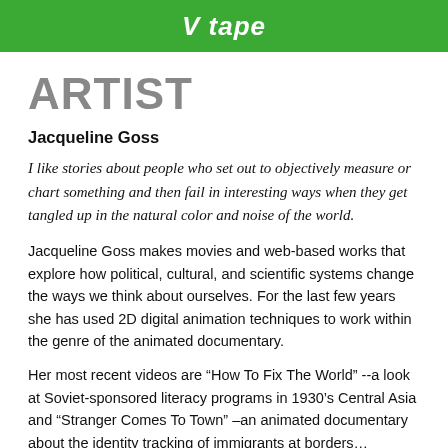V tape
ARTIST
Jacqueline Goss
I like stories about people who set out to objectively measure or chart something and then fail in interesting ways when they get tangled up in the natural color and noise of the world.
Jacqueline Goss makes movies and web-based works that explore how political, cultural, and scientific systems change the ways we think about ourselves. For the last few years she has used 2D digital animation techniques to work within the genre of the animated documentary.
Her most recent videos are “How To Fix The World” --a look at Soviet-sponsored literacy programs in 1930’s Central Asia and “Stranger Comes To Town” –an animated documentary about the identity tracking of immigrants at borders…